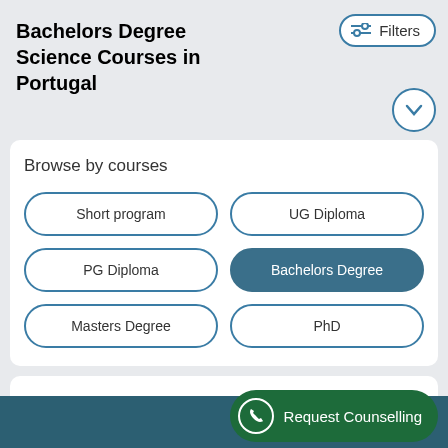Bachelors Degree Science Courses in Portugal
Browse by courses
Short program
UG Diploma
PG Diploma
Bachelors Degree
Masters Degree
PhD
No data Found
Request Counselling